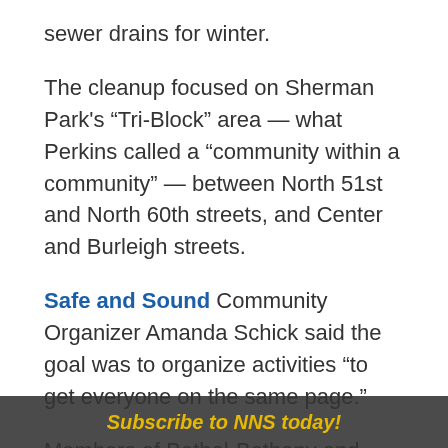sewer drains for winter.
The cleanup focused on Sherman Park's “Tri-Block” area — what Perkins called a “community within a community” — between North 51st and North 60th streets, and Center and Burleigh streets.
Safe and Sound Community Organizer Amanda Schick said the goal was to organize activities “to get everyone on the same page.”
Members of Bethel-Bethany and Mount Calvary Lutheran churches, both of which are in the Tri-Block area, surveyed residents’ needs by going “door to door to take the temperature of the neighborhood,” said Karen Nagel, president of the Tri-Block Neighborhood Organization. We wanted to see and hear
Subscribe to NNS today!